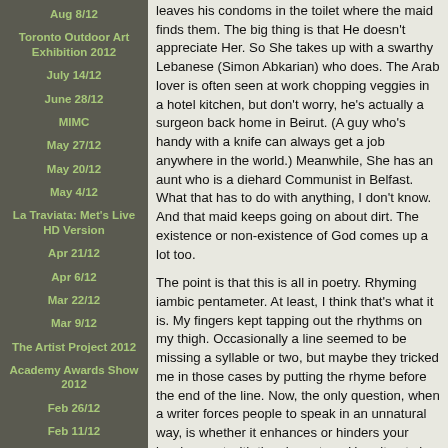Aug 8/12
Toronto Outdoor Art Exhibition 2012
July 14/12
June 28/12
MIMC
May 27/12
May 20/12
May 4/12
La Traviata: Met's Live HD Version
Apr 21/12
Apr 6/12
Mar 22/12
Mar 9/12
The Artist Project 2012
Academy Awards Show 2012
Feb 26/12
Feb 11/12
Jan 23/12
leaves his condoms in the toilet where the maid finds them. The big thing is that He doesn't appreciate Her. So She takes up with a swarthy Lebanese (Simon Abkarian) who does. The Arab lover is often seen at work chopping veggies in a hotel kitchen, but don't worry, he's actually a surgeon back home in Beirut. (A guy who's handy with a knife can always get a job anywhere in the world.) Meanwhile, She has an aunt who is a diehard Communist in Belfast. What that has to do with anything, I don't know. And that maid keeps going on about dirt. The existence or non-existence of God comes up a lot too.
The point is that this is all in poetry. Rhyming iambic pentameter. At least, I think that's what it is. My fingers kept tapping out the rhythms on my thigh. Occasionally a line seemed to be missing a syllable or two, but maybe they tricked me in those cases by putting the rhyme before the end of the line. Now, the only question, when a writer forces people to speak in an unnatural way, is whether it enhances or hinders your involvement with the characters. Here it gets in the way, I'd say. Your fingers can't stop tapping out those damn rhythms. And you start anticipating some of the rhymes. It wouldn't be so bad if the content of the lines was worth it. Some lines come out banal: "Something to